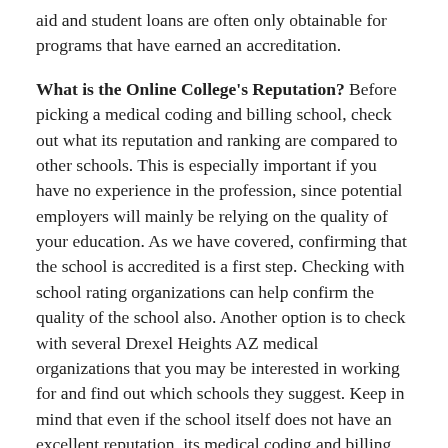aid and student loans are often only obtainable for programs that have earned an accreditation.
What is the Online College's Reputation? Before picking a medical coding and billing school, check out what its reputation and ranking are compared to other schools. This is especially important if you have no experience in the profession, since potential employers will mainly be relying on the quality of your education. As we have covered, confirming that the school is accredited is a first step. Checking with school rating organizations can help confirm the quality of the school also. Another option is to check with several Drexel Heights AZ medical organizations that you may be interested in working for and find out which schools they suggest. Keep in mind that even if the school itself does not have an excellent reputation, its medical coding and billing program may still be well regarded.